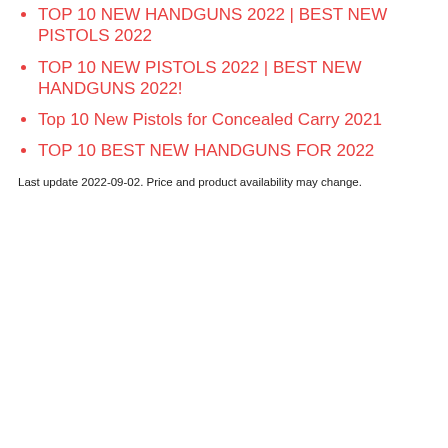TOP 10 NEW HANDGUNS 2022 | BEST NEW PISTOLS 2022
TOP 10 NEW PISTOLS 2022 | BEST NEW HANDGUNS 2022!
Top 10 New Pistols for Concealed Carry 2021
TOP 10 BEST NEW HANDGUNS FOR 2022
Last update 2022-09-02. Price and product availability may change.